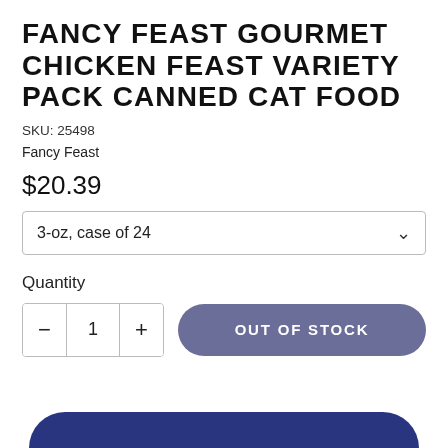FANCY FEAST GOURMET CHICKEN FEAST VARIETY PACK CANNED CAT FOOD
SKU: 25498
Fancy Feast
$20.39
3-oz, case of 24
Quantity
— 1 + OUT OF STOCK